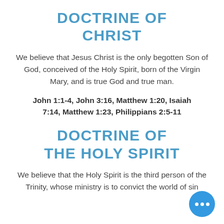DOCTRINE OF CHRIST
We believe that Jesus Christ is the only begotten Son of God, conceived of the Holy Spirit, born of the Virgin Mary, and is true God and true man.
John 1:1-4, John 3:16, Matthew 1:20, Isaiah 7:14, Matthew 1:23, Philippians 2:5-11
DOCTRINE OF THE HOLY SPIRIT
We believe that the Holy Spirit is the third person of the Trinity, whose ministry is to convict the world of sin